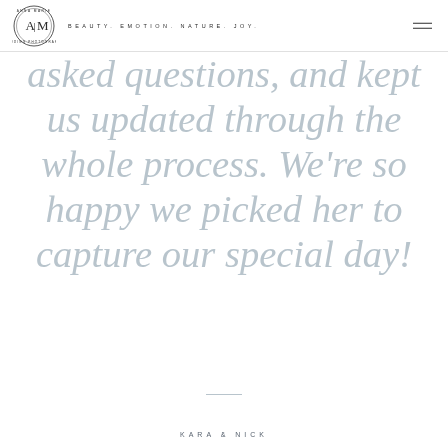A|M   BEAUTY. EMOTION. NATURE. JOY.
asked questions, and kept us updated through the whole process. We're so happy we picked her to capture our special day!
KARA & NICK